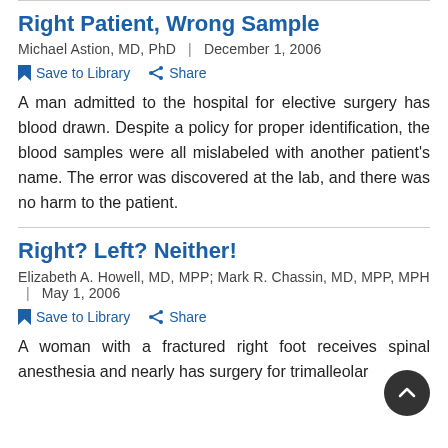Right Patient, Wrong Sample
Michael Astion, MD, PhD  |  December 1, 2006
Save to Library   Share
A man admitted to the hospital for elective surgery has blood drawn. Despite a policy for proper identification, the blood samples were all mislabeled with another patient's name. The error was discovered at the lab, and there was no harm to the patient.
Right? Left? Neither!
Elizabeth A. Howell, MD, MPP; Mark R. Chassin, MD, MPP, MPH  |  May 1, 2006
Save to Library   Share
A woman with a fractured right foot receives spinal anesthesia and nearly has surgery for trimalleolar...